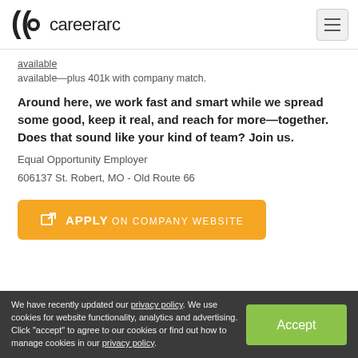careerarc
available—plus 401k with company match.
Around here, we work fast and smart while we spread some good, keep it real, and reach for more—together. Does that sound like your kind of team? Join us.
Equal Opportunity Employer
606137 St. Robert, MO - Old Route 66
APPLY ON COMPANY WEBSITE
Similar Jobs
We have recently updated our privacy policy. We use cookies for website functionality, analytics and advertising. Click "accept" to agree to our cookies or find out how to manage cookies in our privacy policy.